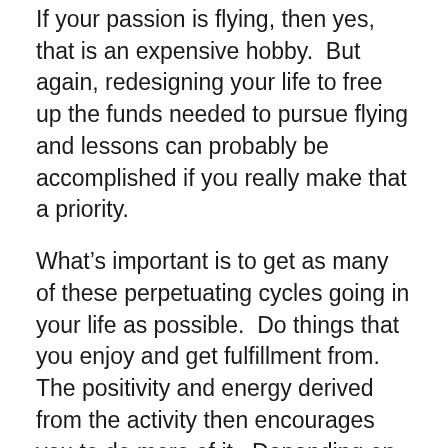If your passion is flying, then yes, that is an expensive hobby.  But again, redesigning your life to free up the funds needed to pursue flying and lessons can probably be accomplished if you really make that a priority.
What's important is to get as many of these perpetuating cycles going in your life as possible.  Do things that you enjoy and get fulfillment from.  The positivity and energy derived from the activity then encourages you to do more of it.  Depending on your passions, you can strengthen one, two, or all three of the three pillars (health, purpose, and